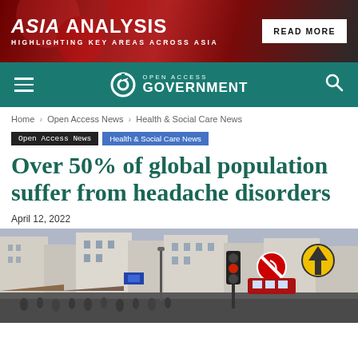[Figure (other): Banner advertisement for Asia Analysis with red background, text 'ASIA ANALYSIS - HIGHLIGHTING KEY AREAS ACROSS ASIA' and a 'READ MORE' button]
[Figure (logo): Open Access Government navigation bar with hamburger menu, lock/open access logo, site title 'OPEN ACCESS GOVERNMENT', and search icon on teal background]
Home › Open Access News › Health & Social Care News
Open Access News   Health & Social Care News
Over 50% of global population suffer from headache disorders
April 12, 2022
[Figure (photo): Busy street scene in a city, showing traffic lights, road signs (no-turn sign, one-way arrow sign), buildings, and a crowd of pedestrians]